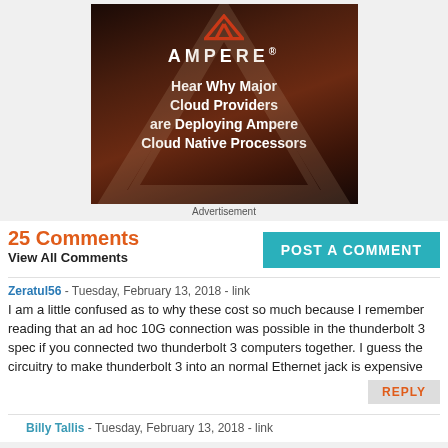[Figure (illustration): Ampere Computing advertisement banner with dark brownish-red background, Ampere logo (triangle/arrow icon + AMPERE wordmark), and text: Hear Why Major Cloud Providers are Deploying Ampere Cloud Native Processors]
Advertisement
25 Comments
View All Comments
POST A COMMENT
Zeratul56 - Tuesday, February 13, 2018 - link
I am a little confused as to why these cost so much because I remember reading that an ad hoc 10G connection was possible in the thunderbolt 3 spec if you connected two thunderbolt 3 computers together. I guess the circuitry to make thunderbolt 3 into an normal Ethernet jack is expensive
REPLY
Billy Tallis - Tuesday, February 13, 2018 - link